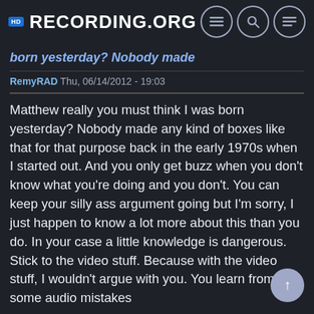RECORDING.ORG
born yesterday? Nobody made
RemyRAD Thu, 06/14/2012 - 19:03
Matthew really you must think I was born yesterday? Nobody made any kind of boxes like that for that purpose back in the early 1970s when I started out. And you only get buzz when you don't know what you're doing and you don't. You can keep your silly ass argument going but I'm sorry, I just happen to know a lot more about this than you do. In your case a little knowledge is dangerous. Stick to the video stuff. Because with the video stuff, I wouldn't argue with you. You learn from some audio mistakes